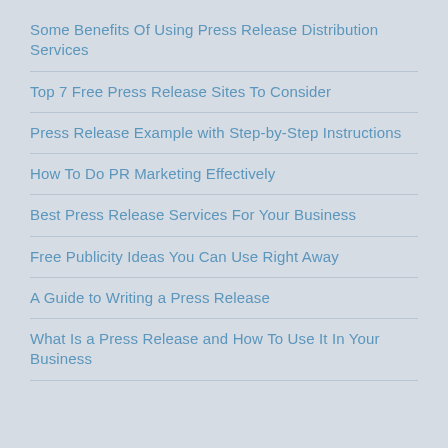Some Benefits Of Using Press Release Distribution Services
Top 7 Free Press Release Sites To Consider
Press Release Example with Step-by-Step Instructions
How To Do PR Marketing Effectively
Best Press Release Services For Your Business
Free Publicity Ideas You Can Use Right Away
A Guide to Writing a Press Release
What Is a Press Release and How To Use It In Your Business